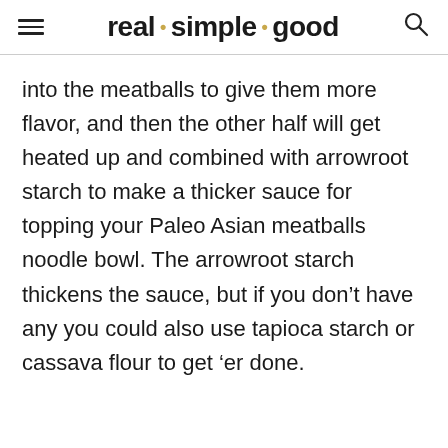real · simple · good
into the meatballs to give them more flavor, and then the other half will get heated up and combined with arrowroot starch to make a thicker sauce for topping your Paleo Asian meatballs noodle bowl. The arrowroot starch thickens the sauce, but if you don't have any you could also use tapioca starch or cassava flour to get 'er done.